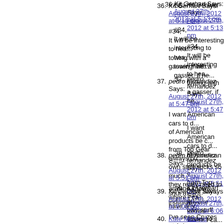36. Kit Gerhart Says:
August 27th, 2012 at 5:13 pm
#34,
It will be interesting to hea... towing with a gasser, if he...
37. pedro fernandez Says:
August 27th, 2012 at 5:47 pm
I want American cars to d... of American products be c... from Top Gear always pu... own stuff sucks so much,... they really need to shut u... industry.
38. pedro fernandez Says:
August 27th, 2012 at 5:51 pm
anyone knows where I ca... have any.
39. Kit Gerhart Says:
August 27th, 2012 at 6:06 pm
I've seen Cruzes at Avis w...
We keep hearing that it is... fleets, because it depress... car is any good, it would s... there for people to rent an...
40. Kate McLeod Says: